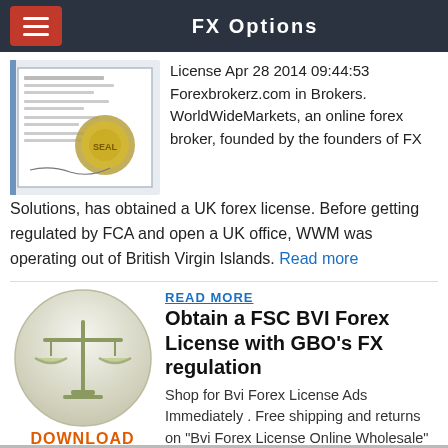FX Options
[Figure (photo): Certificate/license document with a gold seal stamp]
License Apr 28 2014 09:44:53 Forexbrokerz.com in Brokers. WorldWideMarkets, an online forex broker, founded by the founders of FX Solutions, has obtained a UK forex license. Before getting regulated by FCA and open a UK office, WWM was operating out of British Virgin Islands. Read more
[Figure (illustration): Balance scales icon inside a grey circle, with DOWNLOAD label below in orange]
READ MORE
Obtain a FSC BVI Forex License with GBO's FX regulation
Shop for Bvi Forex License Ads Immediately . Free shipping and returns on "Bvi Forex License Online Wholesale"